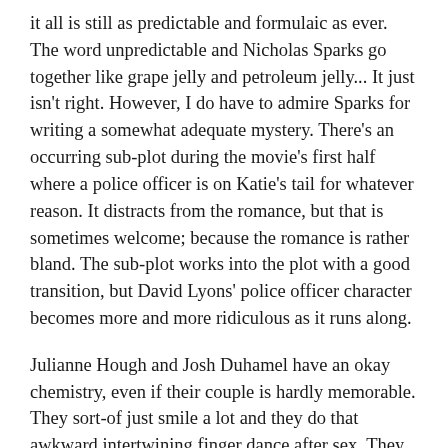it all is still as predictable and formulaic as ever. The word unpredictable and Nicholas Sparks go together like grape jelly and petroleum jelly... It just isn't right. However, I do have to admire Sparks for writing a somewhat adequate mystery. There's an occurring sub-plot during the movie's first half where a police officer is on Katie's tail for whatever reason. It distracts from the romance, but that is sometimes welcome; because the romance is rather bland. The sub-plot works into the plot with a good transition, but David Lyons' police officer character becomes more and more ridiculous as it runs along.
Julianne Hough and Josh Duhamel have an okay chemistry, even if their couple is hardly memorable. They sort-of just smile a lot and they do that awkward intertwining finger dance after sex. They aren't the most memorable couple to come out of a Nicholas Sparks story, as someone could easily forget their